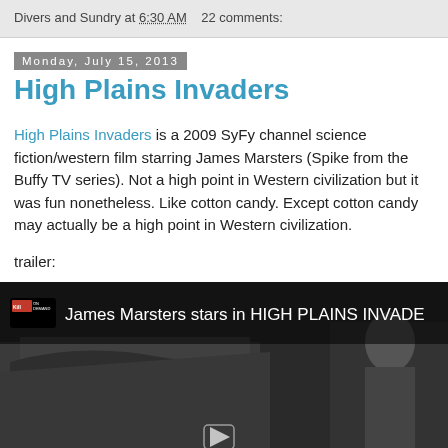Divers and Sundry at 6:30 AM   22 comments:
Monday, July 15, 2013
High Plains Invaders
High Plains Invaders is a 2009 SyFy channel science fiction/western film starring James Marsters (Spike from the Buffy TV series). Not a high point in Western civilization but it was fun nonetheless. Like cotton candy. Except cotton candy may actually be a high point in Western civilization.
trailer:
[Figure (screenshot): YouTube-style video thumbnail showing a black and white scene with text overlay: 'James Marsters stars in HIGH PLAINS INVADERS' with an On Demand logo in the top left corner.]